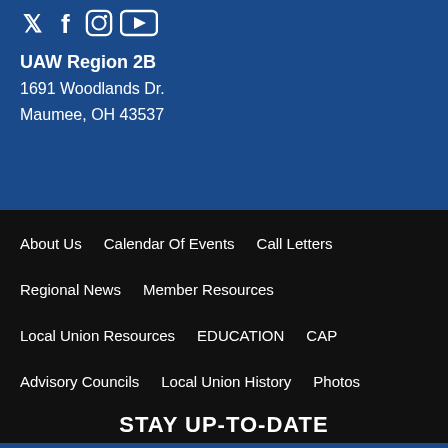[Figure (illustration): Social media icons: Twitter bird, Facebook f, Instagram camera, YouTube play button]
UAW Region 2B
1691 Woodlands Dr.
Maumee, OH 43537
About Us   Calendar Of Events   Call Letters
Regional News   Member Resources
Local Union Resources   EDUCATION   CAP
Advisory Councils   Local Union History   Photos
Take Action   Director's Update   Retired Workers
STAY UP-TO-DATE